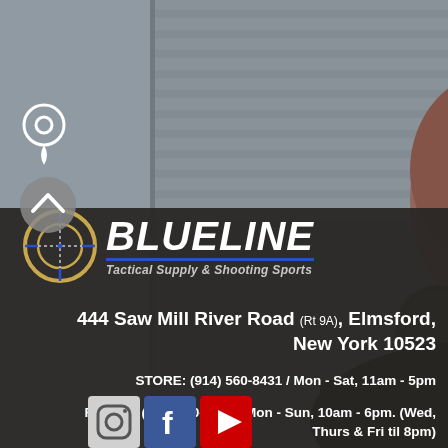[Figure (photo): Background photo of a person at a shooting range wearing hearing protection, viewed from behind/side, with a dark semi-transparent overlay panel at the bottom]
BLUELINE Tactical Supply & Shooting Sports
444 Saw Mill River Road (Rt 9A), Elmsford, New York 10523
STORE: (914) 560-8431 / Mon - Sat, 11am - 5pm
RANGE: (914) 740-8140 / Mon - Sun, 10am - 6pm. (Wed, Thurs & Fri til 8pm)